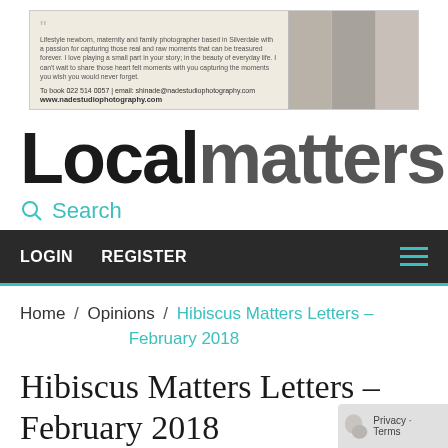[Figure (screenshot): Advertisement banner for Nade Studio Photography with text and images on the right]
Localmatters
Search
LOGIN   REGISTER
Home / Opinions / Hibiscus Matters Letters – February 2018
Hibiscus Matters Letters – February 2018
January 31, 2018 10:37am